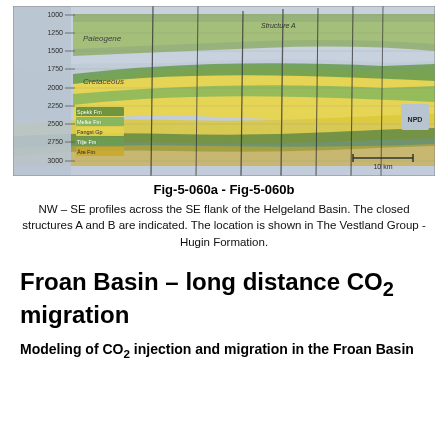[Figure (engineering-diagram): NW-SE seismic cross-section across the SE flank of the Helgeland Basin showing layered geological formations (Paleogene, Cretaceous, Spekk Fm, Melke Fm, Fangst Gp, Tilje Fm, Åre Fm) with colored horizons (green, yellow, dark green) and vertical fault lines. Depth axis on left (1000-3000m), scale bar of 10 km, NPD logo in lower right. Structure A labeled at top.]
Fig-5-060a - Fig-5-060b
NW – SE profiles across the SE flank of the Helgeland Basin. The closed structures A and B are indicated. The location is shown in The Vestland Group - Hugin Formation.
Froan Basin – long distance CO₂ migration
Modeling of CO₂ injection and migration in the Froan Basin